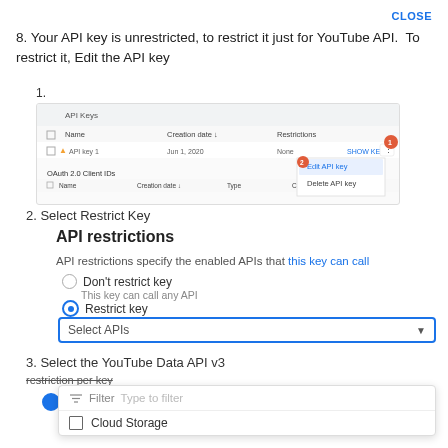CLOSE
8. Your API key is unrestricted, to restrict it just for YouTube API.  To restrict it, Edit the API key
[Figure (screenshot): Screenshot of Google Cloud Console API Keys page showing a list of API keys with a context menu open showing 'Edit API key' (highlighted, labeled 2) and 'Delete API key' options. A red circle labeled '1' marks the menu button.]
2. Select Restrict Key
API restrictions
API restrictions specify the enabled APIs that this key can call
Don't restrict key
This key can call any API
Restrict key
[Figure (screenshot): Select APIs dropdown box with blue border]
3. Select the YouTube Data API v3
[Figure (screenshot): Dropdown panel with filter input and Cloud Storage checkbox option]